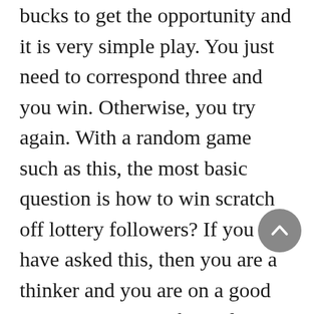bucks to get the opportunity and it is very simple play. You just need to correspond three and you win. Otherwise, you try again. With a random game such as this, the most basic question is how to win scratch off lottery followers? If you have asked this, then you are a thinker and you are on a good start. But a person begin learn how to win scratch off lottery tickets, first you need to comprehend how to play the golf game. And here is how.
First of all, online Pick 4 lottery provides you with this type of high regarding convenience. Imagine, you won't have to end the house at all of. You can just sit pretty inside your favorite or most comfortable chair and position yourself in